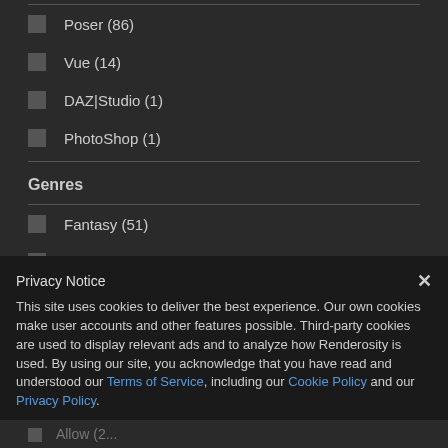Poser (86)
Vue (14)
DAZ|Studio (1)
PhotoShop (1)
Genres
Fantasy (51)
Atmosphere/Mood (19)
Privacy Notice
This site uses cookies to deliver the best experience. Our own cookies make user accounts and other features possible. Third-party cookies are used to display relevant ads and to analyze how Renderosity is used. By using our site, you acknowledge that you have read and understood our Terms of Service, including our Cookie Policy and our Privacy Policy.
Allow (2)...